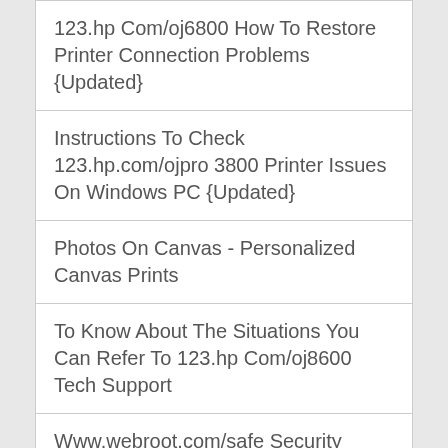123.hp Com/oj6800 How To Restore Printer Connection Problems {Updated}
Instructions To Check 123.hp.com/ojpro 3800 Printer Issues On Windows PC {Updated}
Photos On Canvas - Personalized Canvas Prints
To Know About The Situations You Can Refer To 123.hp Com/oj8600 Tech Support
Www.webroot.com/safe Security Antivirus Tech Support Services
How To Fix 123.hp Com/oj6800 Driver Install Error 1603?